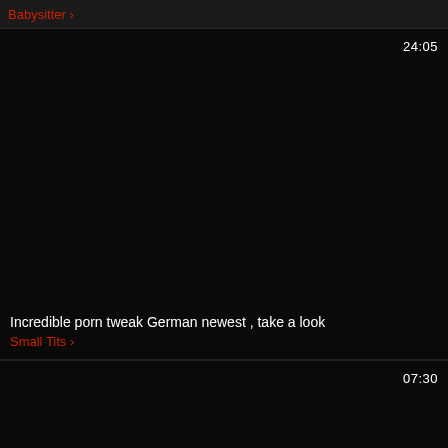Babysitter >
[Figure (screenshot): Black video thumbnail with duration 24:05 in top right, title 'Incredible porn tweak German newest , take a look' and tag 'Small Tits >' at bottom left]
[Figure (screenshot): Black video thumbnail with duration 07:30 in top right, partially visible at bottom of page]